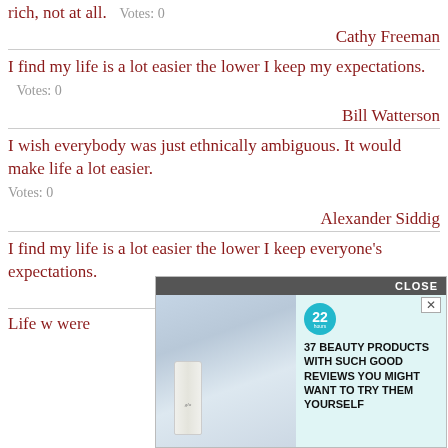rich, not at all.  Votes: 0
Cathy Freeman
I find my life is a lot easier the lower I keep my expectations.  Votes: 0
Bill Watterson
I wish everybody was just ethnically ambiguous. It would make life a lot easier.  Votes: 0
Alexander Siddig
I find my life is a lot easier the lower I keep everyone's expectations.
...erson
Life w... were
[Figure (screenshot): Advertisement overlay with CLOSE button. Shows beauty product ad: '37 BEAUTY PRODUCTS WITH SUCH GOOD REVIEWS YOU MIGHT WANT TO TRY THEM YOURSELF' with a badge '22' and an image of a woman with a glo product bottle.]